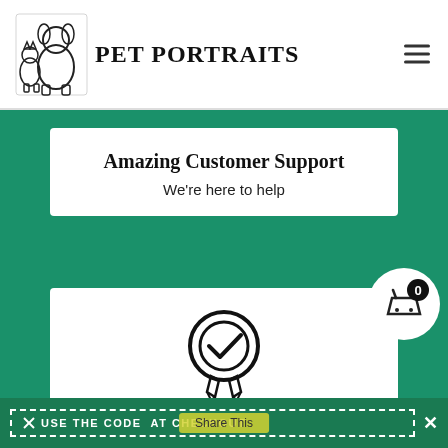PET PORTRAITS
Amazing Customer Support
We're here to help
[Figure (illustration): Award/ribbon icon with checkmark inside a circle and ribbon streamers below]
Satisfaction Guarantee
If you're not happy, we're not happy
USE THE CODE AT CHECKOUT